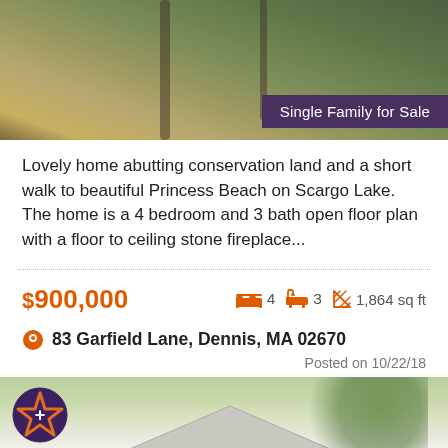[Figure (photo): Outdoor wooded area with trees, top portion of a real estate listing photo]
Single Family for Sale
Lovely home abutting conservation land and a short walk to beautiful Princess Beach on Scargo Lake. The home is a 4 bedroom and 3 bath open floor plan with a floor to ceiling stone fireplace...
$900,000  🛏 4  🛁 3  1,864 sq ft
83 Garfield Lane, Dennis, MA 02670
Posted on 10/22/18
[Figure (photo): Exterior photo of a single family house with white roof, yellow siding, surrounded by trees]